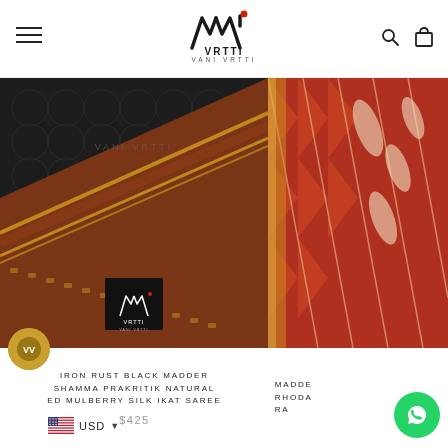[Figure (logo): Vani Vrtti brand logo — stylized crown/W mark in black with red dot, text VANI VRTTI below]
[Figure (photo): Product photo of Iron Rust Black Madder Shamma Prakritik Natural Dyed Mulberry Silk Ikat Saree — black fabric with rust/brown decorative border and gold zari]
[Figure (photo): Partial product photo on right side showing red/rust Madder Rhoda saree with geometric ikat patterns and golden border]
IRON RUST BLACK MADDER SHAMMA PRAKRITIK NATURAL ED MULBERRY SILK IKAT SAREE
$425
MADDE RHODA RA
USD